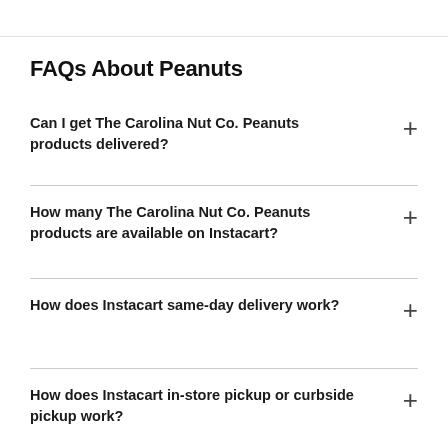FAQs About Peanuts
Can I get The Carolina Nut Co. Peanuts products delivered?
How many The Carolina Nut Co. Peanuts products are available on Instacart?
How does Instacart same-day delivery work?
How does Instacart in-store pickup or curbside pickup work?